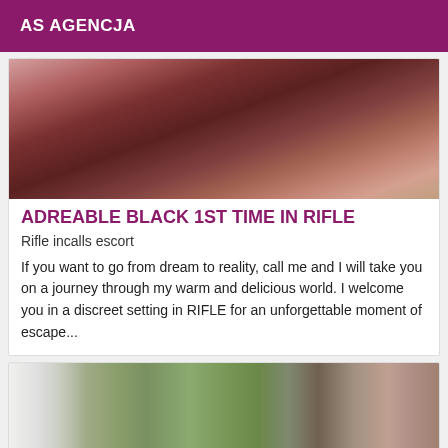AS AGENCJA
[Figure (photo): Top portion of a photo showing a bedroom scene with colorful items]
ADREABLE BLACK 1ST TIME IN RIFLE
Rifle incalls escort
If you want to go from dream to reality, call me and I will take you on a journey through my warm and delicious world. I welcome you in a discreet setting in RIFLE for an unforgettable moment of escape...
[Figure (photo): Photo showing a bathroom with green tiles and a person in a bathtub]